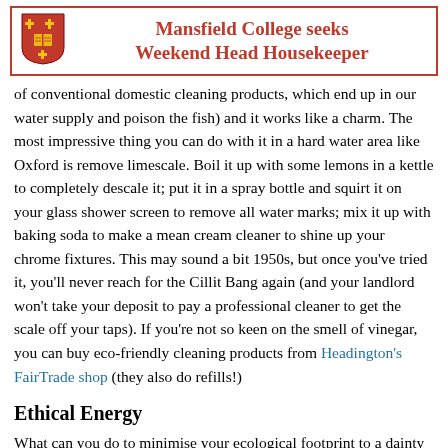Mansfield College seeks Weekend Head Housekeeper
of conventional domestic cleaning products, which end up in our water supply and poison the fish) and it works like a charm. The most impressive thing you can do with it in a hard water area like Oxford is remove limescale. Boil it up with some lemons in a kettle to completely descale it; put it in a spray bottle and squirt it on your glass shower screen to remove all water marks; mix it up with baking soda to make a mean cream cleaner to shine up your chrome fixtures. This may sound a bit 1950s, but once you've tried it, you'll never reach for the Cillit Bang again (and your landlord won't take your deposit to pay a professional cleaner to get the scale off your taps). If you're not so keen on the smell of vinegar, you can buy eco-friendly cleaning products from Headington's FairTrade shop (they also do refills!)
Ethical Energy
What can you do to minimise your ecological footprint to a dainty size 3? Look to your energy use for starters. Good Energy